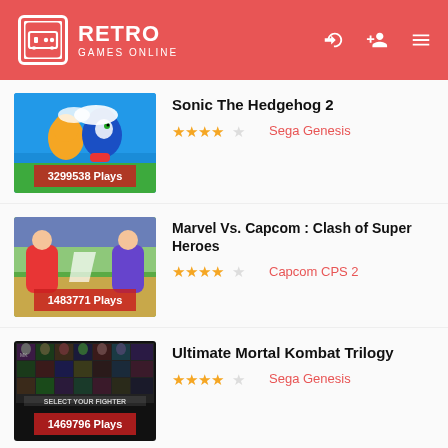RETRO GAMES ONLINE
Sonic The Hedgehog 2 | 3299538 Plays | Sega Genesis
Marvel Vs. Capcom : Clash of Super Heroes | 1483771 Plays | Capcom CPS 2
Ultimate Mortal Kombat Trilogy | 1469796 Plays | Sega Genesis
Mega Man 2 | Nintendo NES